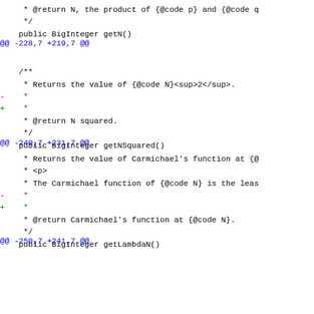* @return N, the product of {@code p} and {@code q}
     */
    public BigInteger getN()
@@ -228,7 +219,7 @@
/**
     * Returns the value of {@code N}<sup>2</sup>.
-    *
+    *
     * @return N squared.
     */
    public BigInteger getNSquared()
@@ -240,7 +231,7 @@
* Returns the value of Carmichael's function at {@
     * <p>
     * The Carmichael function of {@code N} is the leas
-    *
+    *
     * @return Carmichael's function at {@code N}.
     */
    public BigInteger getLambdaN()
@@ -250,7 +241,7 @@